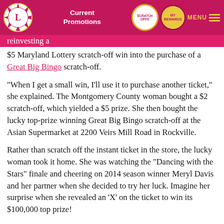Current Promotions | SCRATCH OFFS | My Rewards | MENU
reinvesting a $5 Maryland Lottery scratch-off win into the purchase of a Great Big Bingo scratch-off.
“When I get a small win, I’ll use it to purchase another ticket,” she explained. The Montgomery County woman bought a $2 scratch-off, which yielded a $5 prize. She then bought the lucky top-prize winning Great Big Bingo scratch-off at the Asian Supermarket at 2200 Veirs Mill Road in Rockville.
Rather than scratch off the instant ticket in the store, the lucky woman took it home. She was watching the “Dancing with the Stars” finale and cheering on 2014 season winner Meryl Davis and her partner when she decided to try her luck. Imagine her surprise when she revealed an ‘X’ on the ticket to win its $100,000 top prize!
The 55-year-old shared the news with her family and they checked the ticket repeatedly to verify